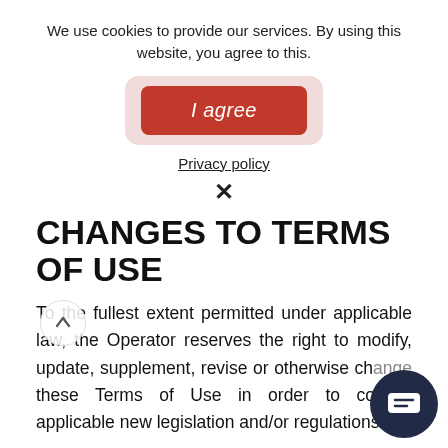We use cookies to provide our services. By using this website, you agree to this.
[Figure (other): Red 'I agree' button with rounded corners and a pinkish glow/shadow effect]
Privacy policy
×
CHANGES TO TERMS OF USE
To the fullest extent permitted under applicable law, the Operator reserves the right to modify, update, supplement, revise or otherwise change these Terms of Use in order to comply applicable new legislation and/or regulations